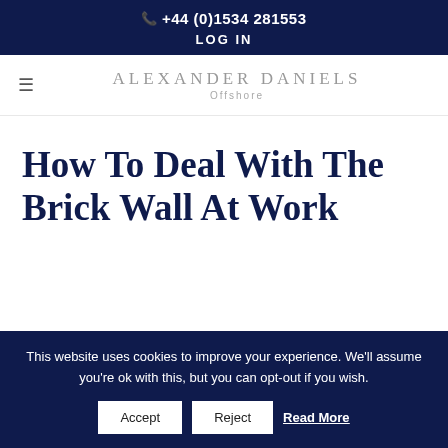+44 (0)1534 281553
LOG IN
[Figure (logo): Alexander Daniels Offshore logo with hamburger menu icon]
How To Deal With The Brick Wall At Work
This website uses cookies to improve your experience. We'll assume you're ok with this, but you can opt-out if you wish.
Accept  Reject  Read More